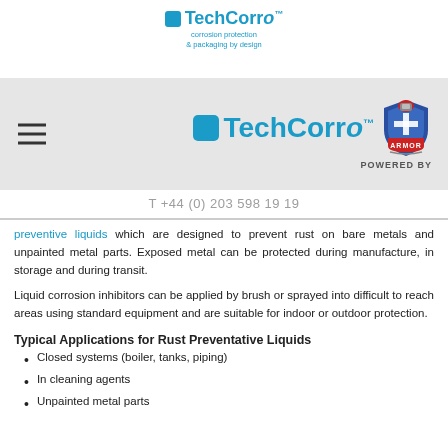[Figure (logo): TechCorro logo - small version at top of page with tagline 'corrosion protection & packaging by design']
[Figure (logo): TechCorro navigation bar logo with TechCorro text and ARMOR shield logo, POWERED BY text]
T +44 (0) 203 598 19 19
preventive liquids which are designed to prevent rust on bare metals and unpainted metal parts. Exposed metal can be protected during manufacture, in storage and during transit.
Liquid corrosion inhibitors can be applied by brush or sprayed into difficult to reach areas using standard equipment and are suitable for indoor or outdoor protection.
Typical Applications for Rust Preventative Liquids
Closed systems (boiler, tanks, piping)
In cleaning agents
Unpainted metal parts